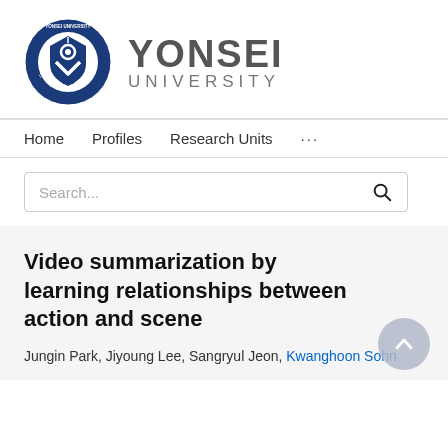[Figure (logo): Yonsei University logo: circular seal with Korean text and '1885', alongside 'YONSEI UNIVERSITY' text in gray]
Home   Profiles   Research Units   ...
Search...
Video summarization by learning relationships between action and scene
Jungin Park, Jiyoung Lee, Sangryul Jeon, Kwanghoon Sohn